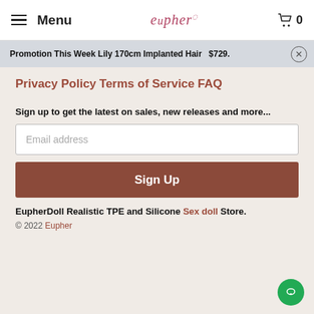Menu | eupher | 0
Promotion This Week Lily 170cm Implanted Hair  $729.
Privacy Policy
Terms of Service
FAQ
Sign up to get the latest on sales, new releases and more...
Email address
Sign Up
EupherDoll Realistic TPE and Silicone Sex doll Store.
© 2022 Eupher